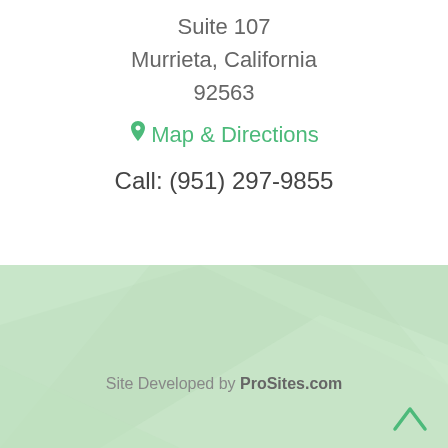Suite 107
Murrieta, California
92563
Map & Directions
Call: (951) 297-9855
Site Developed by ProSites.com